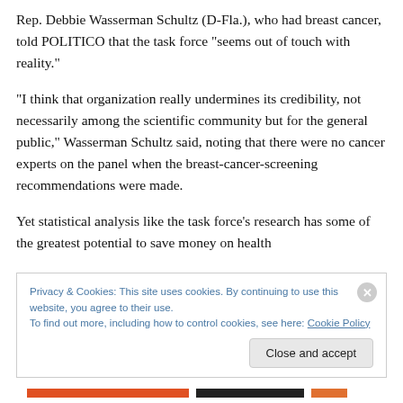Rep. Debbie Wasserman Schultz (D-Fla.), who had breast cancer, told POLITICO that the task force "seems out of touch with reality."
"I think that organization really undermines its credibility, not necessarily among the scientific community but for the general public," Wasserman Schultz said, noting that there were no cancer experts on the panel when the breast-cancer-screening recommendations were made.
Yet statistical analysis like the task force's research has some of the greatest potential to save money on health
Privacy & Cookies: This site uses cookies. By continuing to use this website, you agree to their use.
To find out more, including how to control cookies, see here: Cookie Policy